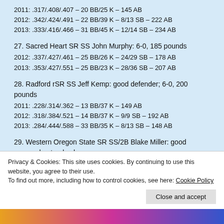2011: .317/.408/.407 – 20 BB/25 K – 145 AB
2012: .342/.424/.491 – 22 BB/39 K – 8/13 SB – 222 AB
2013: .333/.416/.466 – 31 BB/45 K – 12/14 SB – 234 AB
27. Sacred Heart SR SS John Murphy: 6-0, 185 pounds
2012: .337/.427/.461 – 25 BB/26 K – 24/29 SB – 178 AB
2013: .353/.427/.551 – 25 BB/23 K – 28/36 SB – 207 AB
28. Radford rSR SS Jeff Kemp: good defender; 6-0, 200 pounds
2011: .228/.314/.362 – 13 BB/37 K – 149 AB
2012: .318/.384/.521 – 14 BB/37 K – 9/9 SB – 192 AB
2013: .284/.444/.588 – 33 BB/35 K – 8/13 SB – 148 AB
29. Western Oregon State SR SS/2B Blake Miller: good approach; steady glove
2013: .372/.457/.528 – 26 BB/28 K – 22/26 SB – 199 AB
30. Louisiana Lafayette JR SS Ryan Leonards: 6-0, 180 pounds
Privacy & Cookies: This site uses cookies. By continuing to use this website, you agree to their use. To find out more, including how to control cookies, see here: Cookie Policy